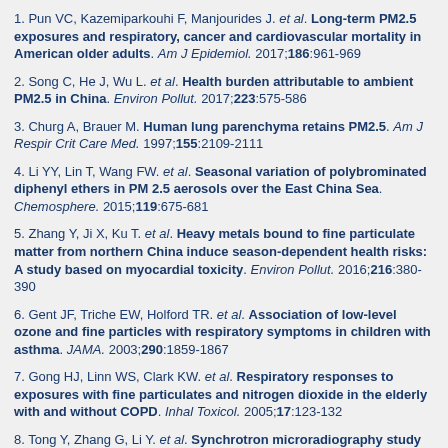1. Pun VC, Kazemiparkouhi F, Manjourides J. et al. Long-term PM2.5 exposures and respiratory, cancer and cardiovascular mortality in American older adults. Am J Epidemiol. 2017;186:961-969
2. Song C, He J, Wu L. et al. Health burden attributable to ambient PM2.5 in China. Environ Pollut. 2017;223:575-586
3. Churg A, Brauer M. Human lung parenchyma retains PM2.5. Am J Respir Crit Care Med. 1997;155:2109-2111
4. Li YY, Lin T, Wang FW. et al. Seasonal variation of polybrominated diphenyl ethers in PM 2.5 aerosols over the East China Sea. Chemosphere. 2015;119:675-681
5. Zhang Y, Ji X, Ku T. et al. Heavy metals bound to fine particulate matter from northern China induce season-dependent health risks: A study based on myocardial toxicity. Environ Pollut. 2016;216:380-390
6. Gent JF, Triche EW, Holford TR. et al. Association of low-level ozone and fine particles with respiratory symptoms in children with asthma. JAMA. 2003;290:1859-1867
7. Gong HJ, Linn WS, Clark KW. et al. Respiratory responses to exposures with fine particulates and nitrogen dioxide in the elderly with and without COPD. Inhal Toxicol. 2005;17:123-132
8. Tong Y, Zhang G, Li Y. et al. Synchrotron microradiography study on acute lung injury of mouse caused by PM(2.5) aerosols. Eur J Radiol. 2006;58:266-272
9. Monn C, Becker S. Cytotoxicity and induction of proinflammatory